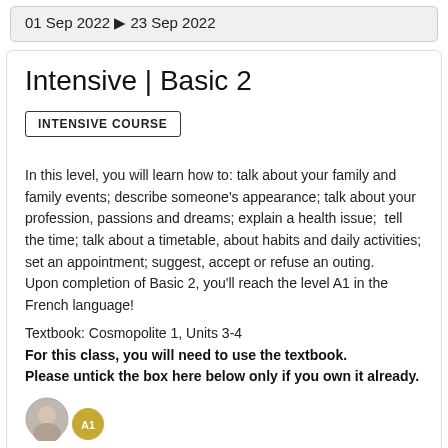01 Sep 2022 ▶ 23 Sep 2022
Intensive | Basic 2
INTENSIVE COURSE
In this level, you will learn how to: talk about your family and family events; describe someone's appearance; talk about your profession, passions and dreams; explain a health issue;  tell the time; talk about a timetable, about habits and daily activities; set an appointment; suggest, accept or refuse an outing.
Upon completion of Basic 2, you'll reach the level A1 in the French language!
Textbook: Cosmopolite 1, Units 3-4
For this class, you will need to use the textbook. Please untick the box here below only if you own it already.
[Figure (illustration): Two small circular avatar images at the bottom: one showing a person photo, one showing an A1 level badge in gold/yellow]